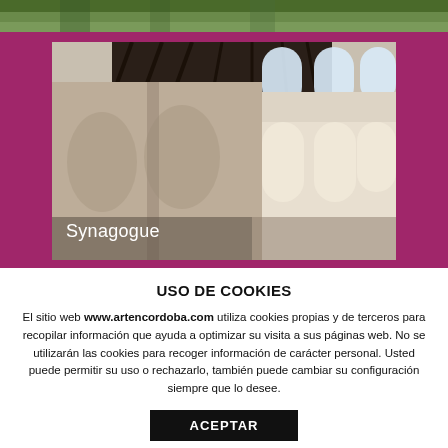[Figure (photo): Top strip showing partial exterior image (garden/greenery) against a magenta/pink background]
[Figure (photo): Interior photo of the Synagogue in Córdoba showing ornate Mudéjar plasterwork, arched niches with intricate geometric patterns, dark wooden ceiling, arched windows letting in light. Text overlay reads 'Synagogue' in white.]
USO DE COOKIES
El sitio web www.artencordoba.com utiliza cookies propias y de terceros para recopilar información que ayuda a optimizar su visita a sus páginas web. No se utilizarán las cookies para recoger información de carácter personal. Usted puede permitir su uso o rechazarlo, también puede cambiar su configuración siempre que lo desee.
ACEPTAR